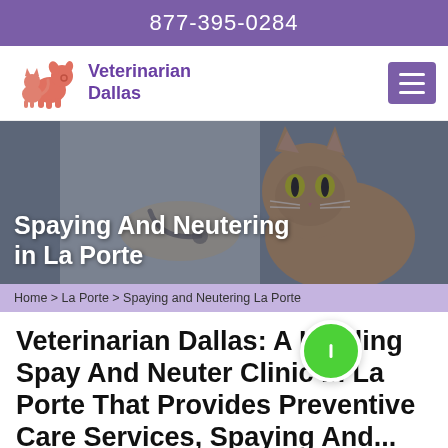877-395-0284
Veterinarian Dallas
[Figure (logo): Veterinarian Dallas logo with stylized dog and cat silhouette in salmon/orange color]
Spaying And Neutering in La Porte
[Figure (photo): Hero background photo of a veterinarian in white coat and gloves with a stethoscope examining a large tabby cat]
Home > La Porte > Spaying and Neutering La Porte
Veterinarian Dallas: A Leading Spay And Neuter Clinic in La Porte That Provides Preventive Care Services, Spaying And...